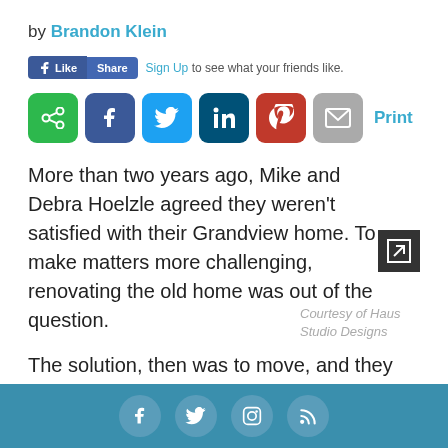by Brandon Klein
[Figure (screenshot): Facebook Like and Share buttons followed by 'Sign Up to see what your friends like.']
[Figure (infographic): Social sharing icon buttons: green share, Facebook, Twitter, LinkedIn, Pinterest, email, and Print link]
More than two years ago, Mike and Debra Hoelzle agreed they weren't satisfied with their Grandview home. To make matters more challenging, renovating the old home was out of the question.
The solution, then was to move, and they were in luck: they found another home in the area that
Courtesy of Haus Studio Designs
Social media footer icons: Facebook, Twitter, Instagram, RSS